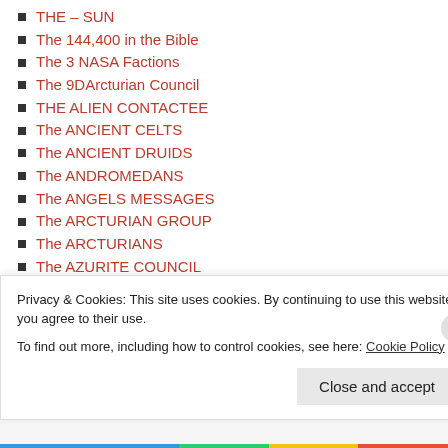THE – SUN
The 144,400 in the Bible
The 3 NASA Factions
The 9DArcturian Council
THE ALIEN CONTACTEE
The ANCIENT CELTS
The ANCIENT DRUIDS
The ANDROMEDANS
The ANGELS MESSAGES
The ARCTURIAN GROUP
The ARCTURIANS
The AZURITE COUNCIL
The BILDERBERG GROUP
The book of ENOCH
The CELTIC "PIXIES"
The CELTIC "SPRITES"
The CETACEANS
The CHAKRA SYSTEMS
Privacy & Cookies: This site uses cookies. By continuing to use this website, you agree to their use.
To find out more, including how to control cookies, see here: Cookie Policy
Close and accept